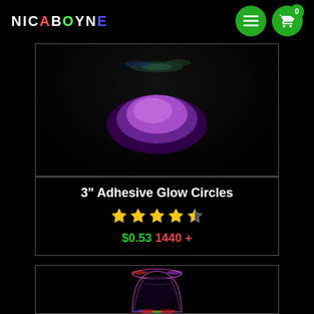NICABOYNE
[Figure (photo): Glowing purple adhesive circle on black background]
3" Adhesive Glow Circles
4.5 stars rating, $0.53, 1440+ reviews
[Figure (photo): Light-up glowing cup on black background]